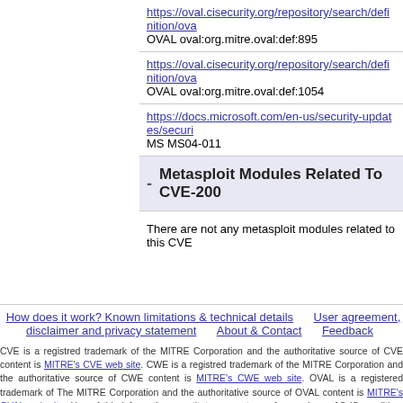https://oval.cisecurity.org/repository/search/definition/ova...
OVAL oval:org.mitre.oval:def:895
https://oval.cisecurity.org/repository/search/definition/ova...
OVAL oval:org.mitre.oval:def:1054
https://docs.microsoft.com/en-us/security-updates/securi...
MS MS04-011
- Metasploit Modules Related To CVE-200...
There are not any metasploit modules related to this CVE...
How does it work? Known limitations & technical details  User agreement, disclaimer and privacy statement  About & Contact  Feedback
CVE is a registred trademark of the MITRE Corporation and the authoritative source of CVE content is MITRE's CVE web site. CWE is a registred trademark of the MITRE Corporation and the authoritative source of CWE content is MITRE's CWE web site. OVAL is a registered trademark of The MITRE Corporation and the authoritative source of OVAL content is MITRE's OVAL web site. Use of this information constitutes acceptance for use in an AS IS condition. There are NO warranties, implied or otherwise, with regard to this information or its use. Any use of this information is at the user's risk. It is the responsibility of user to evaluate the accuracy, completeness or usefulness of any information, opinion, advice or other content. EACH USER WILL BE SOLELY RESPONSIBLE FOR ANY consequences of his or her direct or indirect use of this web site. ALL WARRANTIES OF ANY KIND ARE EXPRESSLY DISCLAIMED. This site will NOT BE LIABLE FOR ANY DIRECT, INDIRECT or any other kind of loss.